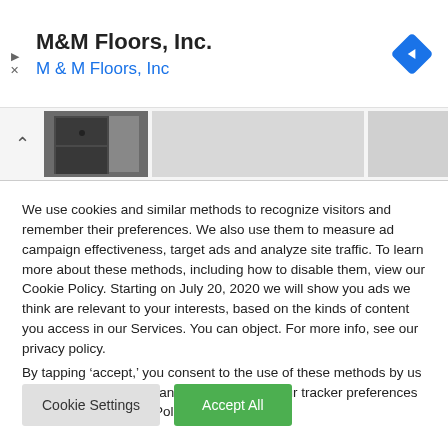M&M Floors, Inc.
M & M Floors, Inc
[Figure (screenshot): Thumbnail strip showing a partial image of a dark cabinet/furniture and grey placeholder panels]
We use cookies and similar methods to recognize visitors and remember their preferences. We also use them to measure ad campaign effectiveness, target ads and analyze site traffic. To learn more about these methods, including how to disable them, view our Cookie Policy. Starting on July 20, 2020 we will show you ads we think are relevant to your interests, based on the kinds of content you access in our Services. You can object. For more info, see our privacy policy.
By tapping ‘accept,’ you consent to the use of these methods by us and third parties. You can always change your tracker preferences by visiting our Cookie Policy..
Cookie Settings
Accept All